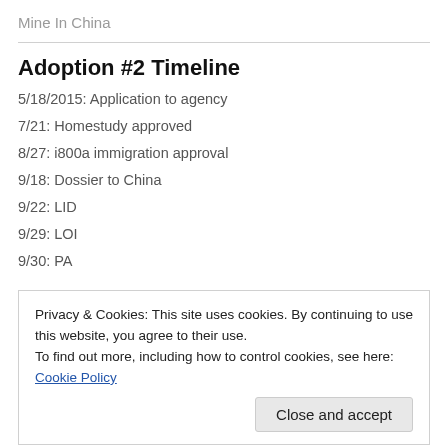Mine In China
Adoption #2 Timeline
5/18/2015: Application to agency
7/21: Homestudy approved
8/27: i800a immigration approval
9/18: Dossier to China
9/22: LID
9/29: LOI
9/30: PA
Privacy & Cookies: This site uses cookies. By continuing to use this website, you agree to their use.
To find out more, including how to control cookies, see here: Cookie Policy
1/20: Consulate appointment